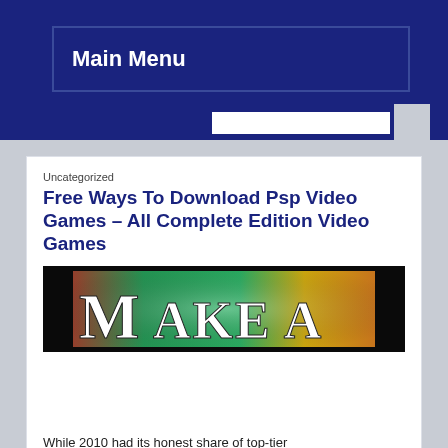Main Menu
Uncategorized
Free Ways To Download Psp Video Games – All Complete Edition Video Games
[Figure (photo): Colorful banner image with dark background and rainbow colors with large text reading 'Make A']
While 2010 had its honest share of top-tier